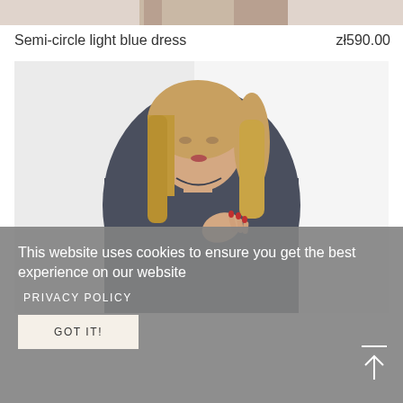[Figure (photo): Top edge of a fashion photo showing lower body in light blue or beige garment, cropped at top of page]
Semi-circle light blue dress
zł590.00
[Figure (photo): Fashion product photo of a woman with shoulder-length blonde hair wearing a dark navy blue dress, hand placed on chest, on a white/light grey background]
This website uses cookies to ensure you get the best experience on our website
PRIVACY POLICY
GOT IT!